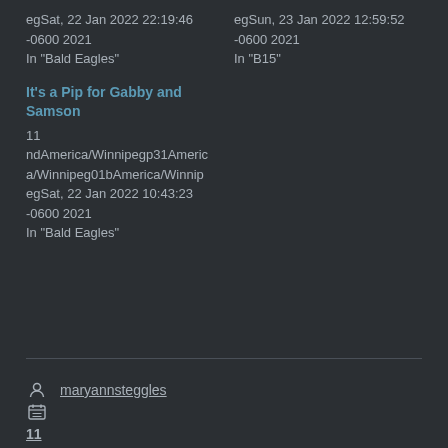egSat, 22 Jan 2022 22:19:46 -0600 2021
In "Bald Eagles"
egSun, 23 Jan 2022 12:59:52 -0600 2021
In "B15"
It's a Pip for Gabby and Samson
11
ndAmerica/Winnipegp31America/Winnipeg01bAmerica/WinnipegSat, 22 Jan 2022 10:43:23 -0600 2021
In "Bald Eagles"
maryannsteggles
11